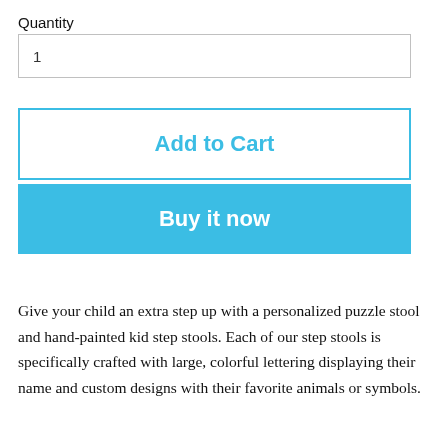Quantity
1
Add to Cart
Buy it now
Give your child an extra step up with a personalized puzzle stool and hand-painted kid step stools. Each of our step stools is specifically crafted with large, colorful lettering displaying their name and custom designs with their favorite animals or symbols.